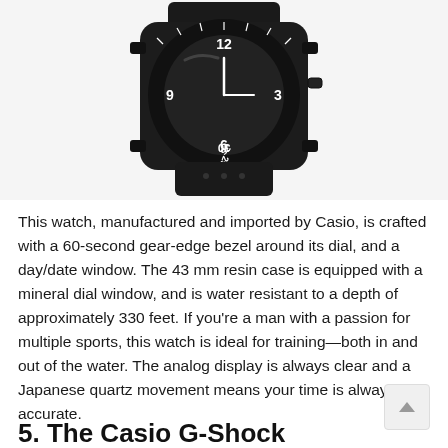[Figure (photo): A black Casio sports watch with a 60-second gear-edge bezel, digital numerals, and a rubber strap, shown at an angle from above.]
This watch, manufactured and imported by Casio, is crafted with a 60-second gear-edge bezel around its dial, and a day/date window. The 43 mm resin case is equipped with a mineral dial window, and is water resistant to a depth of approximately 330 feet. If you're a man with a passion for multiple sports, this watch is ideal for training—both in and out of the water. The analog display is always clear and a Japanese quartz movement means your time is always accurate.
5. The Casio G-Shock